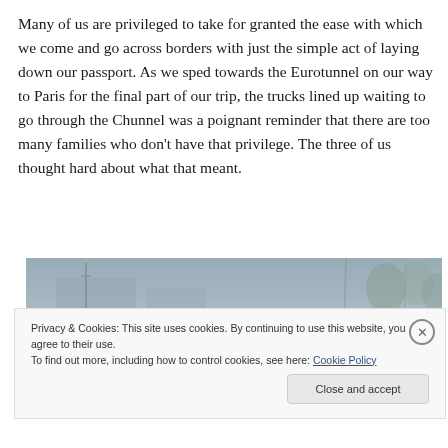Many of us are privileged to take for granted the ease with which we come and go across borders with just the simple act of laying down our passport. As we sped towards the Eurotunnel on our way to Paris for the final part of our trip, the trucks lined up waiting to go through the Chunnel was a poignant reminder that there are too many families who don't have that privilege. The three of us thought hard about what that meant.
[Figure (photo): A misty outdoor scene, appears to be near a transport hub or road area with utility poles and trees visible in a grey hazy atmosphere.]
Privacy & Cookies: This site uses cookies. By continuing to use this website, you agree to their use.
To find out more, including how to control cookies, see here: Cookie Policy